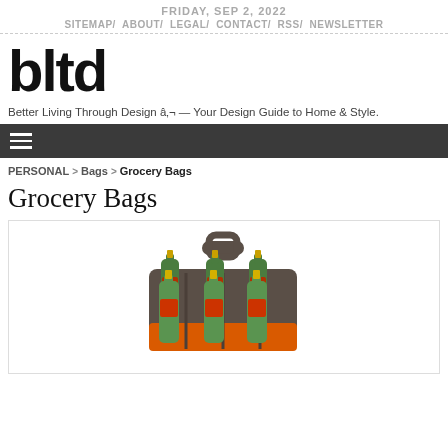FRIDAY, SEP 2, 2022
SITEMAP/ ABOUT/ LEGAL/ CONTACT/ RSS/ NEWSLETTER
[Figure (logo): bltd logo in bold black sans-serif text]
Better Living Through Design â„¢ — Your Design Guide to Home & Style.
[Figure (other): Hamburger menu icon (three horizontal white lines on dark background)]
PERSONAL > Bags > Grocery Bags
Grocery Bags
[Figure (photo): A beer bottle carrier/tote bag holding six green beer bottles, made of grey and orange material with a handle on top.]